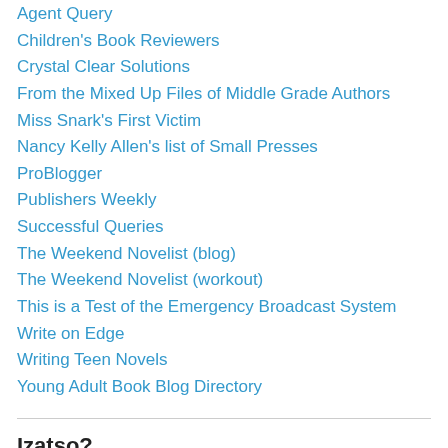Agent Query
Children's Book Reviewers
Crystal Clear Solutions
From the Mixed Up Files of Middle Grade Authors
Miss Snark's First Victim
Nancy Kelly Allen's list of Small Presses
ProBlogger
Publishers Weekly
Successful Queries
The Weekend Novelist (blog)
The Weekend Novelist (workout)
This is a Test of the Emergency Broadcast System
Write on Edge
Writing Teen Novels
Young Adult Book Blog Directory
Izatso?
Clieearity on Middle Grade Monday: The Chron…